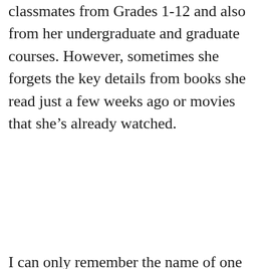classmates from Grades 1-12 and also from her undergraduate and graduate courses. However, sometimes she forgets the key details from books she read just a few weeks ago or movies that she's already watched.
I can only remember the name of one teacher from public school (I'll blog about why another time) and none from high school or university. I also can't recall the names of my former classmates, even though I played with many of them on sports teams. I'm embarrassed to admit that sometimes I even forget (albeit temporarily) the names of the